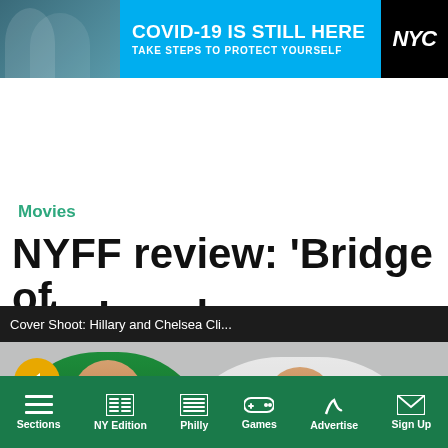[Figure (infographic): NYC COVID-19 ad banner: 'COVID-19 IS STILL HERE / TAKE STEPS TO PROTECT YOURSELF' with NYC branding and person wearing mask]
metro
Movies
NYFF review: 'Bridge of Spies': How to Invade
[Figure (screenshot): Video popup overlay showing 'Cover Shoot: Hillary and Chelsea Cli...' with close button, and video player showing two women, one in green outfit and one in white]
nts   Posted on October 5, 2015
Sections   NY Edition   Philly   Games   Advertise   Sign Up